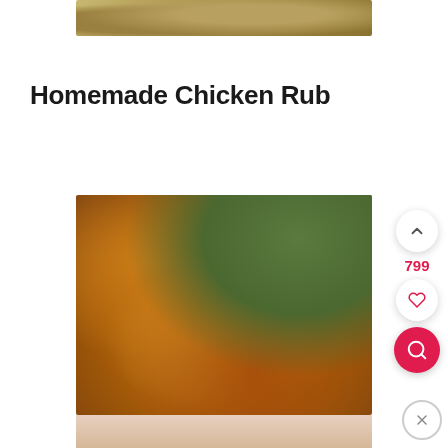[Figure (photo): Top portion of a photo showing spices/seasoning rub ingredients on a white marble surface]
Homemade Chicken Rub
[Figure (photo): Close-up photo of grilled/baked chicken pieces with herbs, seasoned with chicken rub, golden-brown color with some char marks]
[Figure (photo): Bottom sliver of another food photo, partially visible]